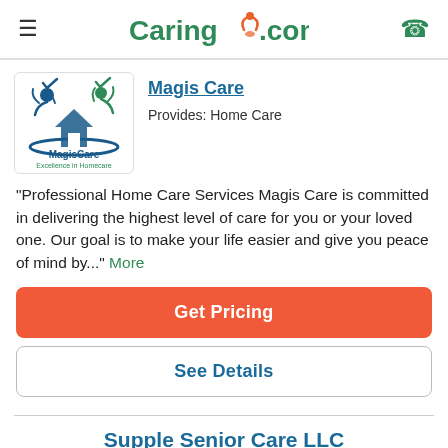Caring.com
[Figure (logo): MagisCare logo — stylized figures with checkmarks above a house icon, text 'MagisCare Excellence in Homecare']
Magis Care
Provides: Home Care
"Professional Home Care Services Magis Care is committed in delivering the highest level of care for you or your loved one. Our goal is to make your life easier and give you peace of mind by..." More
Get Pricing
See Details
Supple Senior Care LLC